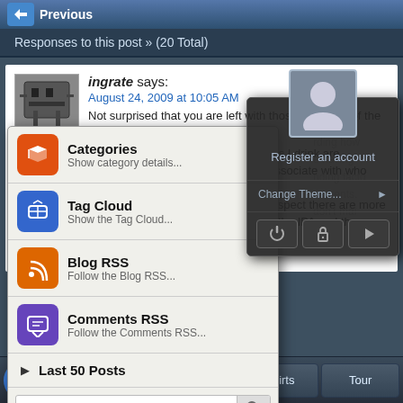[Figure (screenshot): Top navigation bar with back arrow button labeled 'Previous']
Responses to this post » (20 Total)
ingrate says:
August 24, 2009 at 10:05 AM
Not surprised that you are left with those two. I am of the opini... from two different pools of taste. Most of the Porters I drink are... out there, but I avoid them). Most of the people I associate with who pref... Porters. I don't know which group is larger, but I suspect there are more... that prefer IPAs over Porters. My honest opi... hip the IPA and th...
[Figure (screenshot): Overlay menu panel with Categories, Tag Cloud, Blog RSS, Comments RSS items and Last 50 Posts, plus search bar]
[Figure (screenshot): Dark dropdown panel with user avatar placeholder, Register an account link, Change Theme option, and control buttons]
[Figure (screenshot): Bottom navigation bar with Home, About, Shirts, Tour buttons]